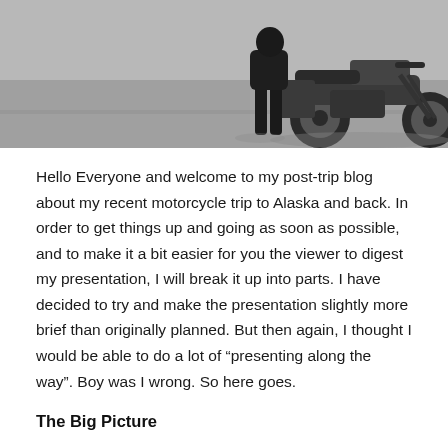[Figure (photo): Person standing next to a BMW motorcycle on a paved surface, shot from behind/side]
Hello Everyone and welcome to my post-trip blog about my recent motorcycle trip to Alaska and back.  In order to get things up and going as soon as possible, and to make it a bit easier for you the viewer to digest my presentation, I will break it up into parts.  I have decided to try and make the presentation slightly more brief than originally planned.  But then again, I thought I would be able to do a lot of “presenting along the way”.  Boy was I wrong.  So here goes.
The Big Picture
On June 27th, 2013, I left my home in Central Illinois on my 2009 BMW 1200GSA motorcycle for a 30-day trip that